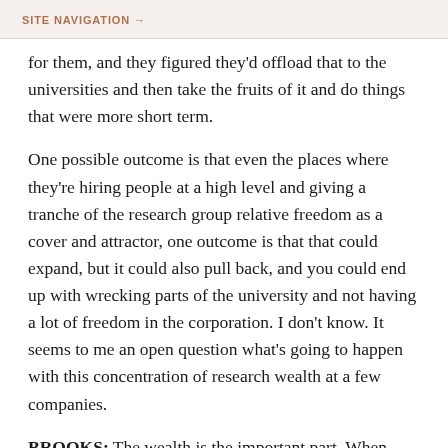SITE NAVIGATION →
for them, and they figured they'd offload that to the universities and then take the fruits of it and do things that were more short term.
One possible outcome is that even the places where they're hiring people at a high level and giving a tranche of the research group relative freedom as a cover and attractor, one outcome is that that could expand, but it could also pull back, and you could end up with wrecking parts of the university and not having a lot of freedom in the corporation. I don't know. It seems to me an open question what's going to happen with this concentration of research wealth at a few companies.
BROOKS: The wealth is the important part. When AT&T blew providing high AT&T were one of the